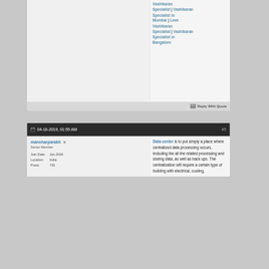Vashikaran Specialist | Vashikaran Specialist in Mumbai | Love Vashikaran Specialist | Vashikaran Specialist in Bangalore
Reply With Quote
04-16-2019, 01:55 AM  #5
manoharparakh
Senior Member
Join Date: Jan 2018
Location: India
Posts: 731
Data center is to put simply a place where centralized data processing occurs, including the all the related processing and storing data, as well as back ups. The centralization will require a certain type of building with electrical, cooling,